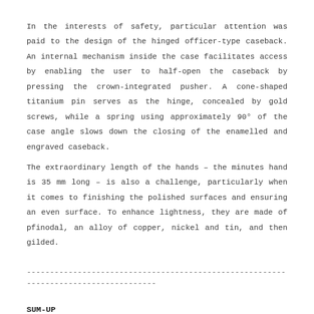In the interests of safety, particular attention was paid to the design of the hinged officer-type caseback. An internal mechanism inside the case facilitates access by enabling the user to half-open the caseback by pressing the crown-integrated pusher. A cone-shaped titanium pin serves as the hinge, concealed by gold screws, while a spring using approximately 90° of the case angle slows down the closing of the enamelled and engraved caseback.
The extraordinary length of the hands – the minutes hand is 35 mm long – is also a challenge, particularly when it comes to finishing the polished surfaces and ensuring an even surface. To enhance lightness, they are made of pfinodal, an alloy of copper, nickel and tin, and then gilded.
------------------------------------------------------------------------------------
SUM-UP
A project first undertaken in 2013, the Les Cabinotiers Westminster Sonnerie – Tribute to Johannes Vermeer is a bespoke, single-piece edition incorporating the